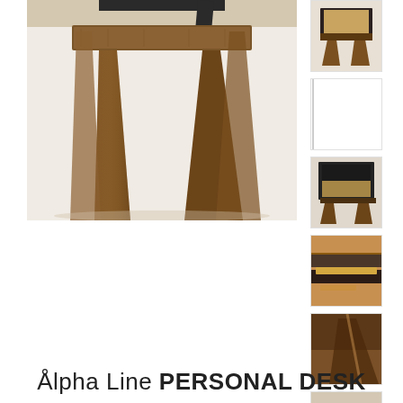[Figure (photo): Close-up photo of a wooden desk's legs and underframe. The desk has dark walnut wood legs in an A-frame style, with a light-colored surface visible at the top. The background is white/cream.]
[Figure (photo): Thumbnail 1: Full view of Alpha Line Personal Desk from an angle showing the secretary/writing desk with open lid and walnut legs.]
[Figure (photo): Thumbnail 2: Side view of the Alpha Line Personal Desk, blank/partial view.]
[Figure (photo): Thumbnail 3: Front view of the Alpha Line Personal Desk with open compartment showing interior storage.]
[Figure (photo): Thumbnail 4: Close-up of the wood grain and sliding drawer mechanism detail.]
[Figure (photo): Thumbnail 5: Close-up detail of the desk corner joint and hardware in dark walnut wood.]
[Figure (photo): Thumbnail 6: Close-up of desk foot/base hardware detail.]
Ålpha Line PERSONAL DESK